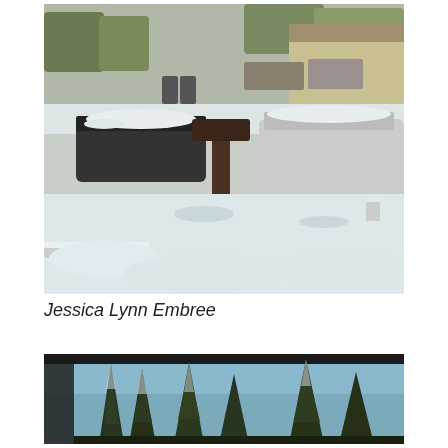[Figure (photo): Snow-covered residential street scene viewed from above/porch. Cars covered in snow parked on street, snow blanketing yards and roads, houses visible in background, railing or fence in foreground covered with snow.]
Jessica Lynn Embree
[Figure (photo): Tall evergreen/pine trees against a blue sky, viewed from a window, partially covered in snow. Dark window frame visible at top left.]